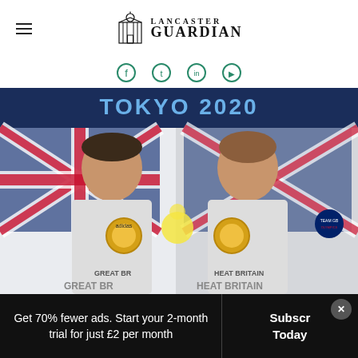Lancaster Guardian
[Figure (other): Social media icons row (four circular green outlined icons)]
[Figure (photo): Tom Daley and Matty Lee holding gold medals in front of Great Britain flag at Tokyo 2020 Olympics]
Get 70% fewer ads. Start your 2-month trial for just £2 per month
Subscribe Today